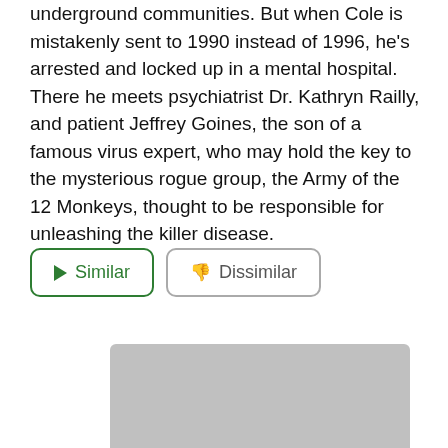underground communities. But when Cole is mistakenly sent to 1990 instead of 1996, he's arrested and locked up in a mental hospital. There he meets psychiatrist Dr. Kathryn Railly, and patient Jeffrey Goines, the son of a famous virus expert, who may hold the key to the mysterious rogue group, the Army of the 12 Monkeys, thought to be responsible for unleashing the killer disease.
[Figure (screenshot): Two buttons: a green-bordered 'Similar' button with a play icon, and a gray-bordered 'Dissimilar' button with a thumbs-down icon.]
[Figure (photo): A gray/blurred image placeholder below the buttons.]